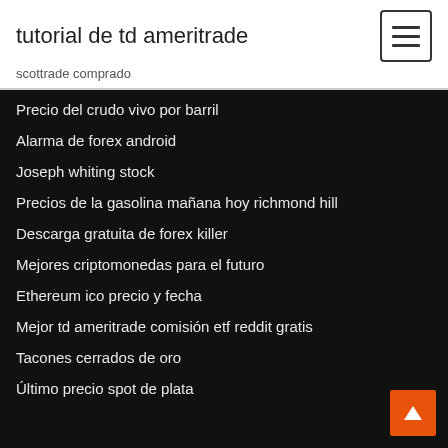tutorial de td ameritrade
scottrade comprado
Precio del crudo vivo por barril
Alarma de forex android
Joseph whiting stock
Precios de la gasolina mañana hoy richmond hill
Descarga gratuita de forex killer
Mejores criptomonedas para el futuro
Ethereum ico precio y fecha
Mejor td ameritrade comisión etf reddit gratis
Tacones cerrados de oro
Último precio spot de plata